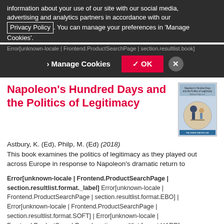information about your use of our site with our social media, advertising and analytics partners in accordance with our Privacy Policy. You can manage your preferences in 'Manage Cookies'.
Error[unknown-locale | Frontend.ProductSearchPage | section.resultlist.book]
Napoleon's Hundred Days and the Politics of Legitimacy
[Figure (illustration): Book cover image for Napoleon's Hundred Days and the Politics of Legitimacy]
Astbury, K. (Ed), Philp, M. (Ed) (2018)
This book examines the politics of legitimacy as they played out across Europe in response to Napoleon's dramatic return to
Error[unknown-locale | Frontend.ProductSearchPage | section.resultlist.format._label] Error[unknown-locale | Frontend.ProductSearchPage | section.resultlist.format.EBO] | Error[unknown-locale | Frontend.ProductSearchPage | section.resultlist.format.SOFT] | Error[unknown-locale | Frontend.ProductSearchPage | section.resultlist.format.HARD]
Error[unknown-locale | Frontend.ProductSearchPage | section.resultlist.pricefrom] 67,40 €